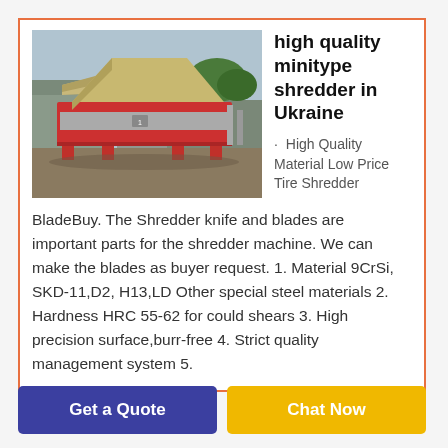[Figure (photo): Industrial mini-type shredder machine with red metal frame and beige/tan hopper on top, photographed outdoors in a yard setting]
high quality minitype shredder in Ukraine
· High Quality Material Low Price Tire Shredder
BladeBuy. The Shredder knife and blades are important parts for the shredder machine. We can make the blades as buyer request. 1. Material 9CrSi, SKD-11,D2, H13,LD Other special steel materials 2. Hardness HRC 55-62 for could shears 3. High precision surface,burr-free 4. Strict quality management system 5.
Get a Quote
Chat Now